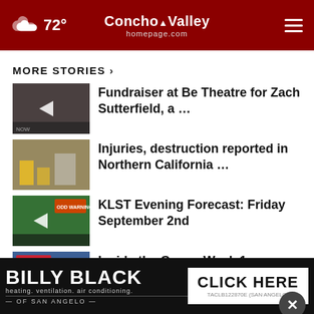72° Concho Valley homepage.com
MORE STORIES ›
Fundraiser at Be Theatre for Zach Sutterfield, a …
Injuries, destruction reported in Northern California …
KLST Evening Forecast: Friday September 2nd
Inside the Game: Week 1
Tom Green County COVID-19 report:
[Figure (screenshot): BILLY BLACK heating. ventilation. air conditioning. OF SAN ANGELO — CLICK HERE — TACLB122870E (San Angelo) advertisement banner]